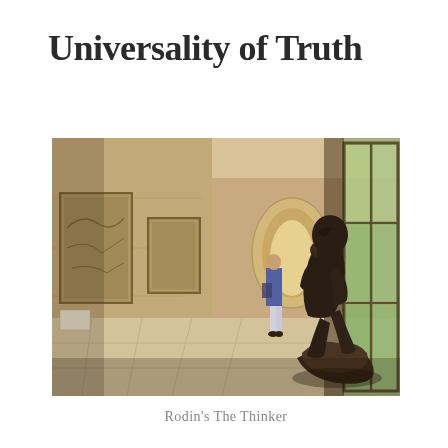Universality of Truth
[Figure (photo): Rodin's The Thinker sculpture displayed in a museum gallery corridor with stone walls, artwork on the left wall, large windows on the right letting in natural light, and a visitor standing in the background looking at art.]
Rodin's The Thinker